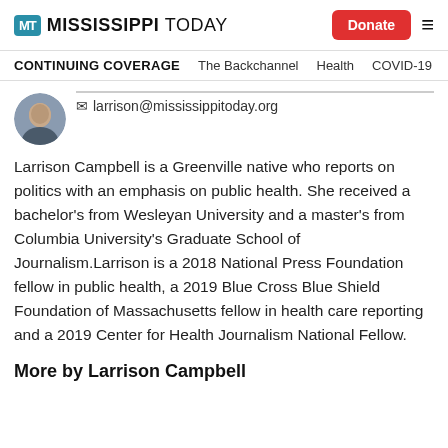MT MISSISSIPPI TODAY | Donate
CONTINUING COVERAGE  The Backchannel  Health  COVID-19
[Figure (photo): Circular author avatar photo of Larrison Campbell]
larrison@mississippitoday.org
Larrison Campbell is a Greenville native who reports on politics with an emphasis on public health. She received a bachelor's from Wesleyan University and a master's from Columbia University's Graduate School of Journalism.Larrison is a 2018 National Press Foundation fellow in public health, a 2019 Blue Cross Blue Shield Foundation of Massachusetts fellow in health care reporting and a 2019 Center for Health Journalism National Fellow.
More by Larrison Campbell